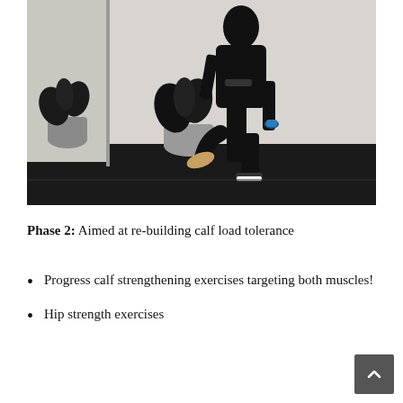[Figure (photo): Person in black hoodie and black pants standing on one leg, holding a blue kettlebell in their right hand, facing away from camera. Indoor gym setting with black floor mat, white wall, and potted plants visible. A mirror on the left reflects the scene.]
Phase 2: Aimed at re-building calf load tolerance
Progress calf strengthening exercises targeting both muscles!
Hip strength exercises